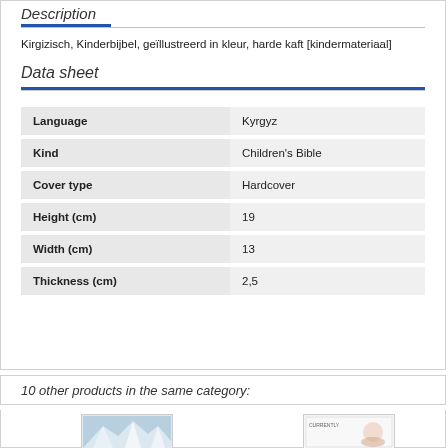Description
Kirgizisch, Kinderbijbel, geïllustreerd in kleur, harde kaft [kindermateriaal]
Data sheet
|  |  |
| --- | --- |
| Language | Kyrgyz |
| Kind | Children's Bible |
| Cover type | Hardcover |
| Height (cm) | 19 |
| Width (cm) | 13 |
| Thickness (cm) | 2,5 |
10 other products in the same category:
[Figure (photo): Mountain landscape photo (snow-capped mountains)]
[Figure (photo): Book cover with illustrated figures]